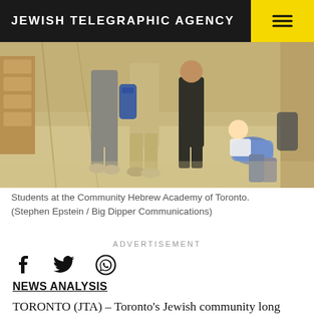JEWISH TELEGRAPHIC AGENCY
[Figure (photo): Students in a school hallway, some standing, one sitting against a wall with backpacks. Indoor corridor with lockers or doors visible.]
Students at the Community Hebrew Academy of Toronto. (Stephen Epstein / Big Dipper Communications)
ADVERTISEMENT
NEWS ANALYSIS
TORONTO (JTA) – Toronto's Jewish community long